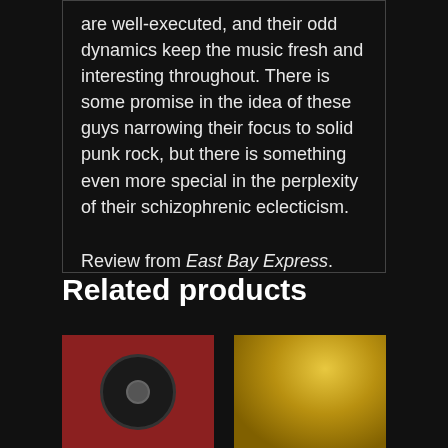are well-executed, and their odd dynamics keep the music fresh and interesting throughout. There is some promise in the idea of these guys narrowing their focus to solid punk rock, but there is something even more special in the perplexity of their schizophrenic eclecticism.

Review from East Bay Express.
Related products
[Figure (photo): Album product thumbnail with dark red/maroon background and a vinyl record label visible]
[Figure (photo): Album product thumbnail with golden/yellow background showing a rounded golden object]